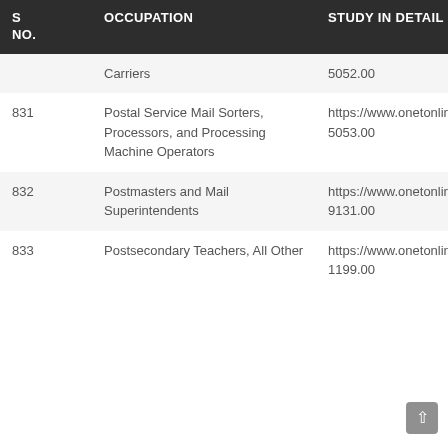| S NO. | OCCUPATION | STUDY IN DETAIL |
| --- | --- | --- |
|  | Carriers | 5052.00 |
| 831 | Postal Service Mail Sorters, Processors, and Processing Machine Operators | https://www.onetonline.org 5053.00 |
| 832 | Postmasters and Mail Superintendents | https://www.onetonline.org 9131.00 |
| 833 | Postsecondary Teachers, All Other | https://www.onetonline.org 1199.00 |